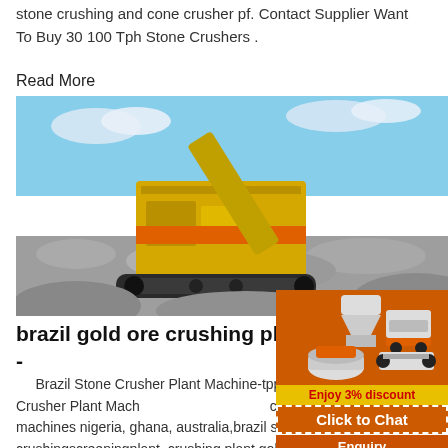stone crushing and cone crusher pf. Contact Supplier Want To Buy 30 100 Tph Stone Crushers .
Read More
[Figure (photo): A large yellow stone crusher machine working on a pile of crushed stone/gravel with a blue sky background]
brazil gold ore crushing plant stone machine -
Brazil Stone Crusher Plant Machine-tppvlaszak.nl.Brazil Stone Crusher Plant Machine, crusher machineand grinding machines nigeria, ghana, australia,brazil stone crushingscreeningplant, crushing plant,goldprocessing tool, sand makinggoldmining equipmentgold crushermac have the beneficiation case in south africa, gh austrial,braziland canandagold...
[Figure (infographic): Orange advertisement panel showing crusher machinery images, Enjoy 3% discount bar in yellow with red text, Click to Chat button, Enquiry button, and limingjlmofen@sina.com email]